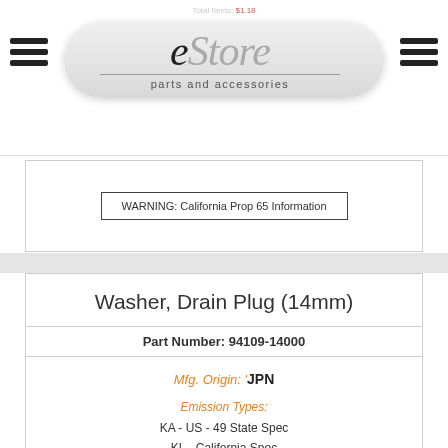eStore parts and accessories
WARNING: California Prop 65 Information
Washer, Drain Plug (14mm)
Part Number: 94109-14000
Mfg. Origin: 'JPN
Emission Types:
KA - US - 49 State Spec
KL - California Spec
KA - US - 49 State Spec
KL - California Spec
KA - US - 49 State Spec
KL - California Spec